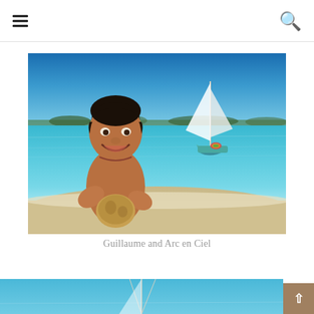Navigation header with hamburger menu and search icon
[Figure (photo): A young boy with wet dark hair, shirtless, smiling and holding a coconut. Background shows turquoise Caribbean water, white sand beach, and a sailboat. Bright sunny day.]
Guillaume and Arc en Ciel
[Figure (photo): Partial view of a sailboat on blue water, mast visible, cropped at bottom of page]